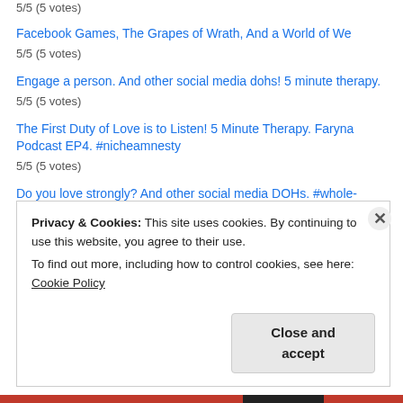5/5 (5 votes)
Facebook Games, The Grapes of Wrath, And a World of We
5/5 (5 votes)
Engage a person. And other social media dohs! 5 minute therapy.
5/5 (5 votes)
The First Duty of Love is to Listen! 5 Minute Therapy. Faryna Podcast EP4. #nicheamnesty
5/5 (5 votes)
Do you love strongly? And other social media DOHs. #whole-hearted
5/5 (5 votes)
How you and I are going to change the world
5/5 (5 votes)
Privacy & Cookies: This site uses cookies. By continuing to use this website, you agree to their use.
To find out more, including how to control cookies, see here: Cookie Policy
Close and accept